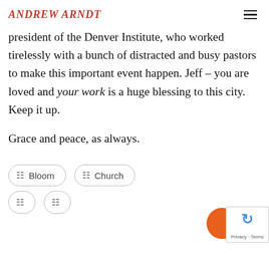ANDREW ARNDT
president of the Denver Institute, who worked tirelessly with a bunch of distracted and busy pastors to make this important event happen.  Jeff – you are loved and your work is a huge blessing to this city.  Keep it up.
Grace and peace, as always.
Bloom
Church